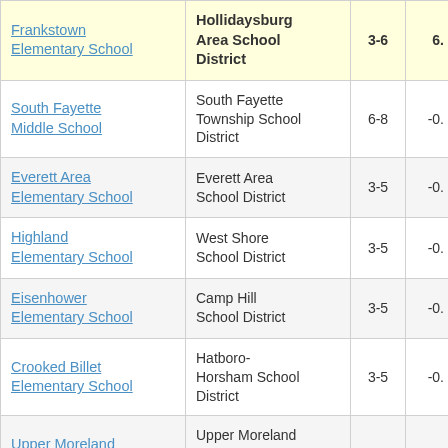| School | District | Grades | Value |
| --- | --- | --- | --- |
| Frankstown Elementary School | Hollidaysburg Area School District | 3-6 | 6. |
| South Fayette Middle School | South Fayette Township School District | 6-8 | -0. |
| Everett Area Elementary School | Everett Area School District | 3-5 | -0. |
| Highland Elementary School | West Shore School District | 3-5 | -0. |
| Eisenhower Elementary School | Camp Hill School District | 3-5 | -0. |
| Crooked Billet Elementary School | Hatboro-Horsham School District | 3-5 | -0. |
| Upper Moreland Middle School | Upper Moreland Township School District | 6-8 | -0. |
| Franklio Regional... | Franklio Regional... |  |  |